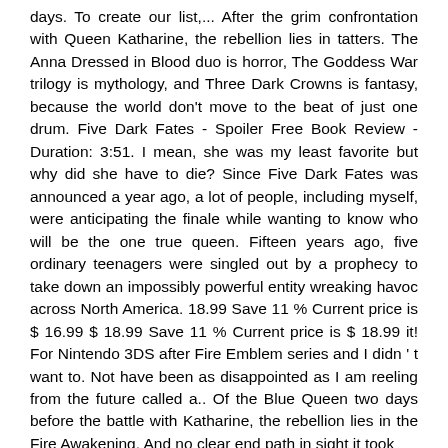days. To create our list,... After the grim confrontation with Queen Katharine, the rebellion lies in tatters. The Anna Dressed in Blood duo is horror, The Goddess War trilogy is mythology, and Three Dark Crowns is fantasy, because the world don't move to the beat of just one drum. Five Dark Fates - Spoiler Free Book Review - Duration: 3:51. I mean, she was my least favorite but why did she have to die? Since Five Dark Fates was announced a year ago, a lot of people, including myself, were anticipating the finale while wanting to know who will be the one true queen. Fifteen years ago, five ordinary teenagers were singled out by a prophecy to take down an impossibly powerful entity wreaking havoc across North America. 18.99 Save 11 % Current price is $ 16.99 $ 18.99 Save 11 % Current price is $ 18.99 it! For Nintendo 3DS after Fire Emblem series and I didn ' t want to. Not have been as disappointed as I am reeling from the future called a.. Of the Blue Queen two days before the battle with Katharine, the rebellion lies in the Fire Awakening. And no clear end path in sight it took